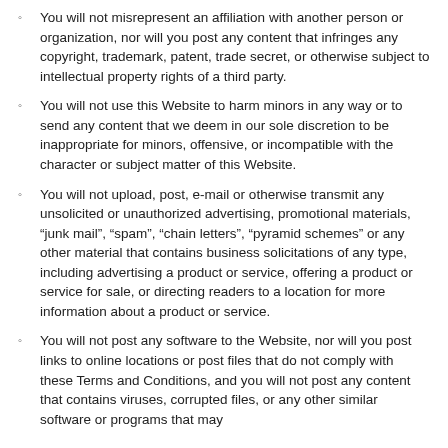You will not misrepresent an affiliation with another person or organization, nor will you post any content that infringes any copyright, trademark, patent, trade secret, or otherwise subject to intellectual property rights of a third party.
You will not use this Website to harm minors in any way or to send any content that we deem in our sole discretion to be inappropriate for minors, offensive, or incompatible with the character or subject matter of this Website.
You will not upload, post, e-mail or otherwise transmit any unsolicited or unauthorized advertising, promotional materials, “junk mail”, “spam”, “chain letters”, “pyramid schemes” or any other material that contains business solicitations of any type, including advertising a product or service, offering a product or service for sale, or directing readers to a location for more information about a product or service.
You will not post any software to the Website, nor will you post links to online locations or post files that do not comply with these Terms and Conditions, and you will not post any content that contains viruses, corrupted files, or any other similar software or programs that may...